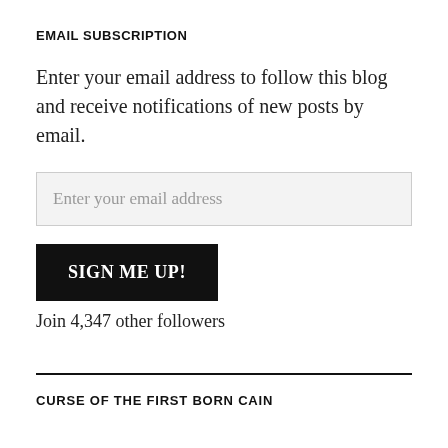EMAIL SUBSCRIPTION
Enter your email address to follow this blog and receive notifications of new posts by email.
Enter your email address
SIGN ME UP!
Join 4,347 other followers
CURSE OF THE FIRST BORN CAIN